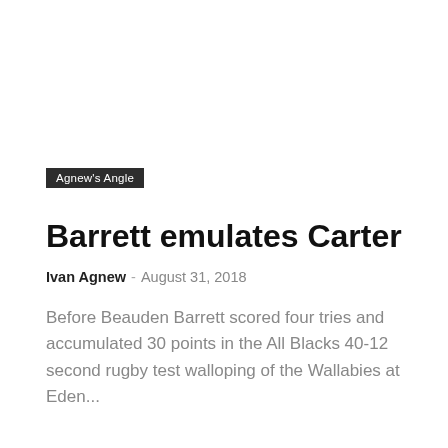Agnew's Angle
Barrett emulates Carter
Ivan Agnew - August 31, 2018
Before Beauden Barrett scored four tries and accumulated 30 points in the All Blacks 40-12 second rugby test walloping of the Wallabies at Eden...